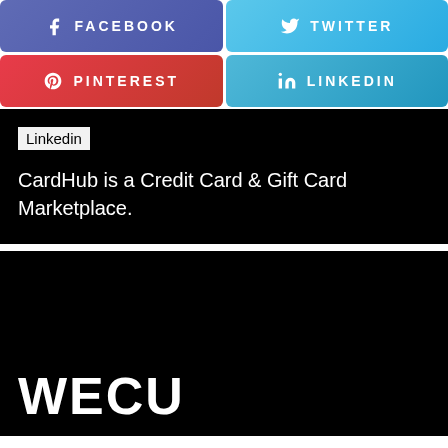[Figure (infographic): Social media share buttons: Facebook (purple-blue), Twitter (light blue), Pinterest (red), LinkedIn (blue)]
Linkedin
CardHub is a Credit Card & Gift Card Marketplace.
[Figure (logo): WECU logo in white text on black background]